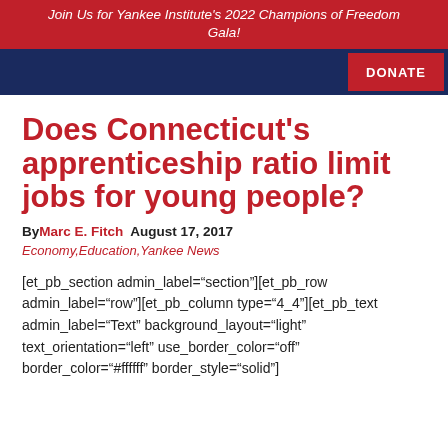Join Us for Yankee Institute's 2022 Champions of Freedom Gala!
Does Connecticut's apprenticeship ratio limit jobs for young people?
By Marc E. Fitch  August 17, 2017
Economy, Education, Yankee News
[et_pb_section admin_label="section"][et_pb_row admin_label="row"][et_pb_column type="4_4"][et_pb_text admin_label="Text" background_layout="light" text_orientation="left" use_border_color="off" border_color="#ffffff" border_style="solid"]